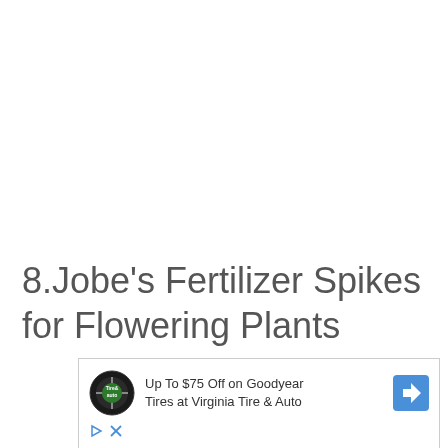8.Jobe's Fertilizer Spikes for Flowering Plants
[Figure (other): Advertisement banner for Virginia Tire & Auto featuring Goodyear tires offer: Up To $75 Off on Goodyear Tires at Virginia Tire & Auto. Contains tire shop logo on left, text in center, and a blue navigation arrow icon on right. Below are play and close (X) control icons.]